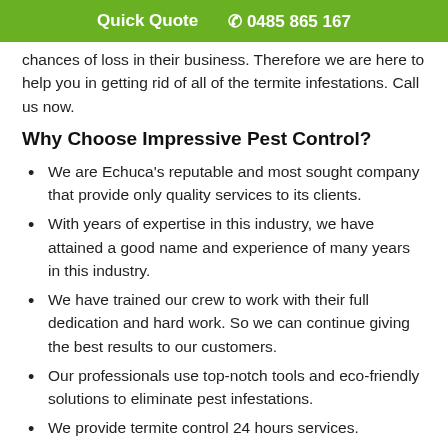Quick Quote  📞 0485 865 167
chances of loss in their business. Therefore we are here to help you in getting rid of all of the termite infestations. Call us now.
Why Choose Impressive Pest Control?
We are Echuca's reputable and most sought company that provide only quality services to its clients.
With years of expertise in this industry, we have attained a good name and experience of many years in this industry.
We have trained our crew to work with their full dedication and hard work. So we can continue giving the best results to our customers.
Our professionals use top-notch tools and eco-friendly solutions to eliminate pest infestations.
We provide termite control 24 hours services.
We provide...